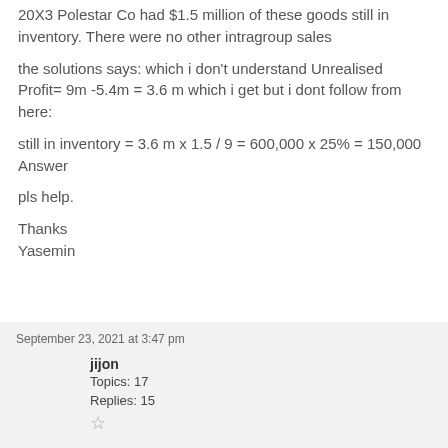20X3 Polestar Co had $1.5 million of these goods still in inventory. There were no other intragroup sales
the solutions says: which i don't understand Unrealised Profit= 9m -5.4m = 3.6 m which i get but i dont follow from here:
still in inventory = 3.6 m x 1.5 / 9 = 600,000 x 25% = 150,000 Answer
pls help.
Thanks
Yasemin
September 23, 2021 at 3:47 pm
jijon
Topics: 17
Replies: 15